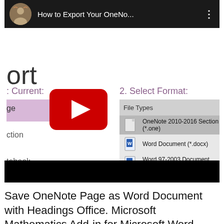[Figure (screenshot): YouTube video thumbnail showing 'How to Export Your OneNo...' with a OneNote export dialog showing file types: OneNote 2010-2016 Section (*.one), Word Document (*.docx), Word 97-2003 Document (*.doc), PDF (*.pdf). A red YouTube play button is overlaid in the center. The UI shows sections labeled 'Current:' and '2. Select Format:' with File Types listed.]
Save OneNote Page as Word Document with Headings Office. Microsoft Mathematics Add-in for Microsoft Word...